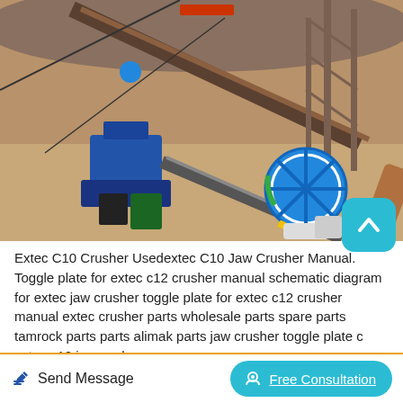[Figure (photo): Aerial/overhead view of a mining crusher plant facility with conveyor belts, blue industrial machinery, scaffolding towers, and a large colorful wheel/washer machine (blue, yellow, green) on sandy terrain.]
Extec C10 Crusher Usedextec C10 Jaw Crusher Manual. Toggle plate for extec c12 crusher manual schematic diagram for extec jaw crusher toggle plate for extec c12 crusher manual extec crusher parts wholesale parts spare parts tamrock parts parts alimak parts jaw crusher toggle plate c extec c12 jawcrusher
Send Message
Free Consultation